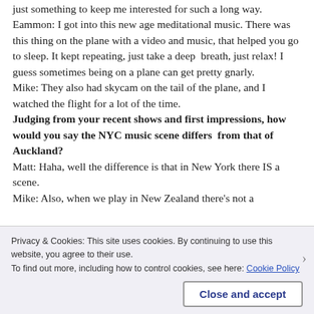just something to keep me interested for such a long way.
Eammon: I got into this new age meditational music. There was this thing on the plane with a video and music, that helped you go to sleep. It kept repeating, just take a deep  breath, just relax! I guess sometimes being on a plane can get pretty gnarly.
Mike: They also had skycam on the tail of the plane, and I watched the flight for a lot of the time.
Judging from your recent shows and first impressions, how would you say the NYC music scene differs  from that of Auckland?
Matt: Haha, well the difference is that in New York there IS a scene.
Mike: Also, when we play in New Zealand there's not a
Privacy & Cookies: This site uses cookies. By continuing to use this website, you agree to their use.
To find out more, including how to control cookies, see here: Cookie Policy
Close and accept